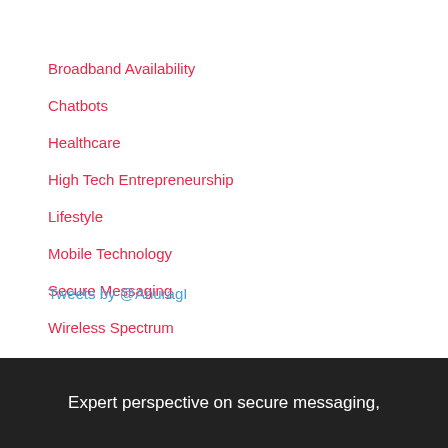Broadband Availability
Chatbots
Healthcare
High Tech Entrepreneurship
Lifestyle
Mobile Technology
Secure Messaging
Wireless Spectrum
Tweets by @AnuragI
Expert perspective on secure messaging,